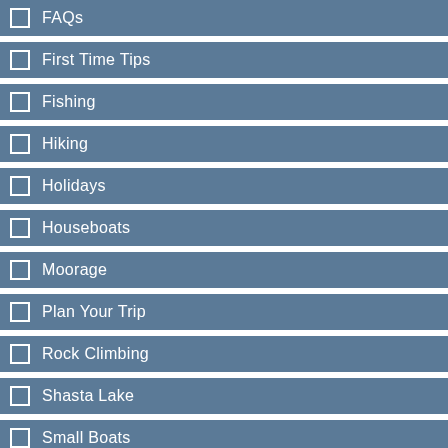FAQs
First Time Tips
Fishing
Hiking
Holidays
Houseboats
Moorage
Plan Your Trip
Rock Climbing
Shasta Lake
Small Boats
Special Events